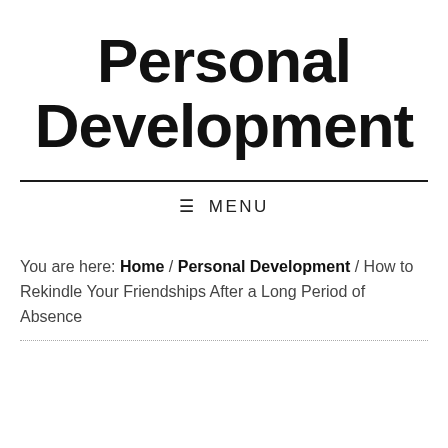Personal Development
≡  MENU
You are here: Home / Personal Development / How to Rekindle Your Friendships After a Long Period of Absence